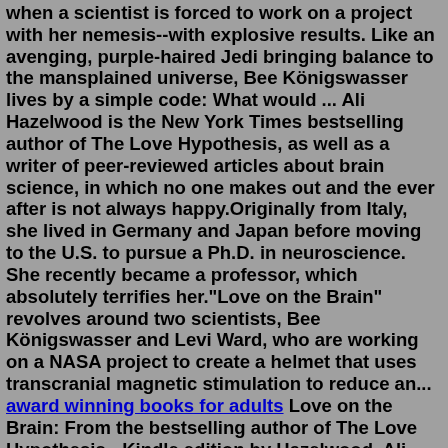when a scientist is forced to work on a project with her nemesis--with explosive results. Like an avenging, purple-haired Jedi bringing balance to the mansplained universe, Bee Königswasser lives by a simple code: What would ... Ali Hazelwood is the New York Times bestselling author of The Love Hypothesis, as well as a writer of peer-reviewed articles about brain science, in which no one makes out and the ever after is not always happy.Originally from Italy, she lived in Germany and Japan before moving to the U.S. to pursue a Ph.D. in neuroscience. She recently became a professor, which absolutely terrifies her."Love on the Brain" revolves around two scientists, Bee Königswasser and Levi Ward, who are working on a NASA project to create a helmet that uses transcranial magnetic stimulation to reduce an... award winning books for adults Love on the Brain: From the bestselling author of The Love Hypothesis - Kindle edition by Hazelwood, Ali. Download it once and read it on your Kindle device, PC, phones or tablets. Use features like bookmarks, note taking and